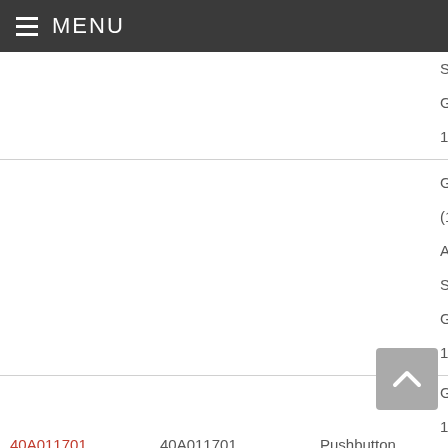MENU
| Part Number | Reference | Type | Aircraft |
| --- | --- | --- | --- |
|  |  |  | SPX, Gulfstream 100) |
|  |  |  | Gulfstream (1125W ASTRA, SPX, Gulfstream 100) |
| 40A011701 | 40A011701 | Pushbutton | Gulfstream (1125W ASTRA, SPX, Gulfstream 100) |
| 926251871111 BAT.60, 70) | 926251871111 BAT.60, 70) | Push Button | Eurocop (BO105 |
| 926251871111 (HYD.1, HYD.2) | 926251871111 (HYD.1, HYD.2) | Pushbutton | Eurocop (BO105 |